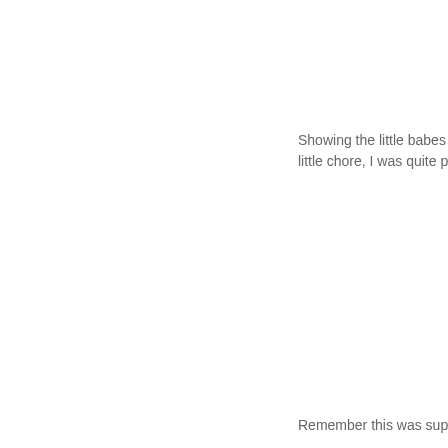Showing the little babes w... little chore, I was quite pl...
Remember this was supp...